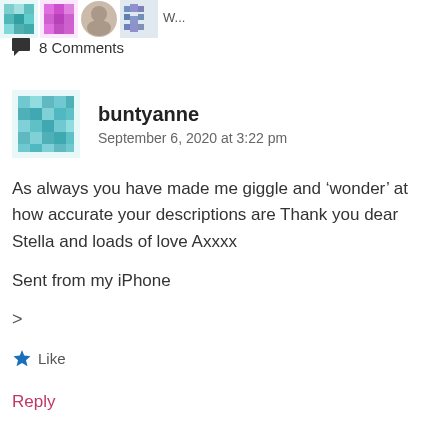[Figure (illustration): Decorative pixel-art style avatar thumbnails at top of page]
8 Comments
buntyanne
September 6, 2020 at 3:22 pm
As always you have made me giggle and ‘wonder’ at how accurate your descriptions are Thank you dear Stella and loads of love Axxxx
Sent from my iPhone
>
Like
Reply